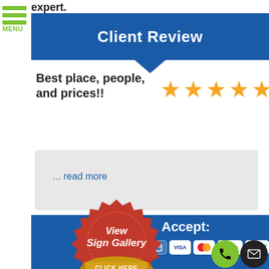expert.
Client Review
Best place, people, and prices!!
[Figure (other): 5 gold stars rating]
... read more
- Kristin Richard
[Figure (other): View Sign Gallery – Click Here badge (red/gold seal)]
Accept:
[Figure (other): Payment method icons: cash, check, credit card, Visa, Mastercard, Discover, American Express]